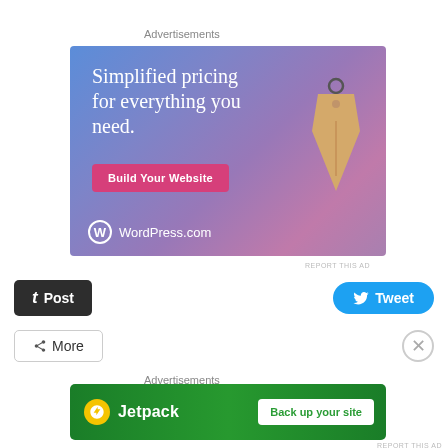Advertisements
[Figure (illustration): WordPress.com advertisement showing 'Simplified pricing for everything you need.' with a 'Build Your Website' button, a price tag image, and WordPress.com logo on a blue-purple gradient background.]
REPORT THIS AD
Post
Tweet
More
Advertisements
[Figure (illustration): Jetpack advertisement with green background showing Jetpack logo and 'Back up your site' button.]
REPORT THIS AD